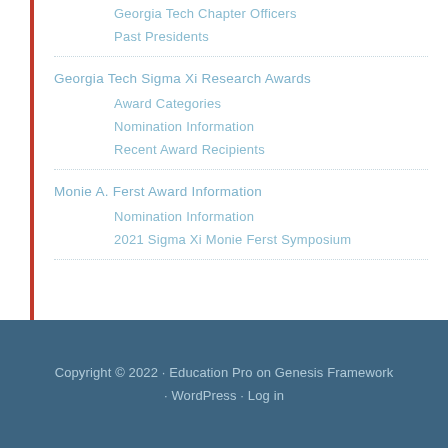Georgia Tech Chapter Officers
Past Presidents
Georgia Tech Sigma Xi Research Awards
Award Categories
Nomination Information
Recent Award Recipients
Monie A. Ferst Award Information
Nomination Information
2021 Sigma Xi Monie Ferst Symposium
Copyright © 2022 · Education Pro on Genesis Framework · WordPress · Log in